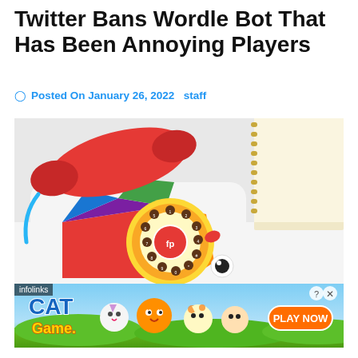Twitter Bans Wordle Bot That Has Been Annoying Players
Posted On January 26, 2022   staff
[Figure (photo): Fisher-Price toy rotary telephone with red handset and yellow dial featuring colorful number buttons and fp logo, placed on a white surface next to a spiral notebook.]
[Figure (screenshot): Cat Game advertisement banner with animated cats and a Play Now button on a green background, with infolinks label and close/help buttons.]